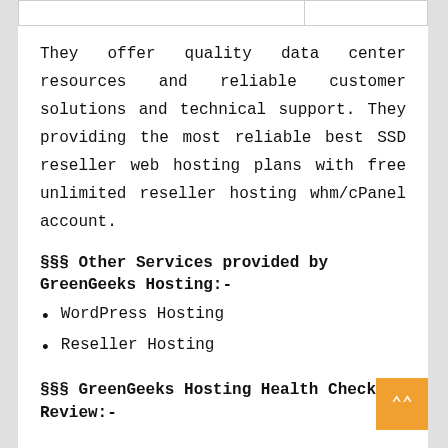|  |  |
| --- | --- |
|  |  |
They offer quality data center resources and reliable customer solutions and technical support. They providing the most reliable best SSD reseller web hosting plans with free unlimited reseller hosting whm/cPanel account.
§§§ Other Services provided by GreenGeeks Hosting:-
WordPress Hosting
Reseller Hosting
§§§ GreenGeeks Hosting Health Check Review:-